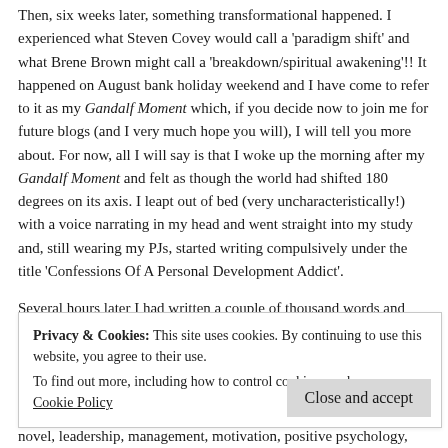Then, six weeks later, something transformational happened. I experienced what Steven Covey would call a 'paradigm shift' and what Brene Brown might call a 'breakdown/spiritual awakening'!!  It happened on August bank holiday weekend and I have come to refer to it as my Gandalf Moment which, if you decide now to join me for future blogs (and I very much hope you will), I will tell you more about. For now, all I will say is that I woke up the morning after my Gandalf Moment and felt as though the world had shifted 180 degrees on its axis. I leapt out of bed (very uncharacteristically!) with a voice narrating in my head and went straight into my study and, still wearing my PJs,  started writing compulsively under the title 'Confessions Of A Personal Development Addict'.
Several hours later I had written a couple of thousand words and had also trawled back through my memory, through old bank statements
Privacy & Cookies: This site uses cookies. By continuing to use this website, you agree to their use.
To find out more, including how to control cookies, see here:
Cookie Policy
novel, leadership, management, motivation, positive psychology,